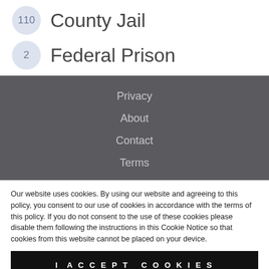110 County Jail
2 Federal Prison
Privacy
About
Contact
Terms
Our website uses cookies. By using our website and agreeing to this policy, you consent to our use of cookies in accordance with the terms of this policy. If you do not consent to the use of these cookies please disable them following the instructions in this Cookie Notice so that cookies from this website cannot be placed on your device.
I ACCEPT COOKIES